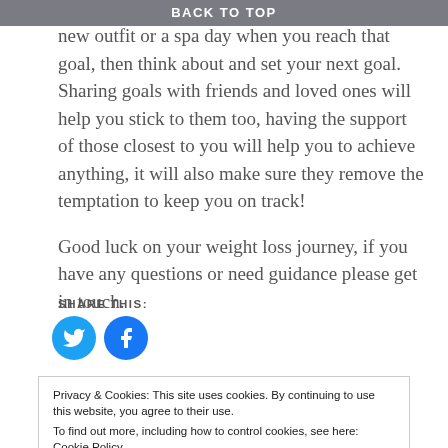BACK TO TOP
new outfit or a spa day when you reach that goal, then think about and set your next goal. Sharing goals with friends and loved ones will help you stick to them too, having the support of those closest to you will help you to achieve anything, it will also make sure they remove the temptation to keep you on track!
Good luck on your weight loss journey, if you have any questions or need guidance please get in touch.
SHARE THIS:
[Figure (illustration): Twitter bird icon (blue circle with white bird) and Facebook 'f' icon (blue circle with white f)]
Privacy & Cookies: This site uses cookies. By continuing to use this website, you agree to their use. To find out more, including how to control cookies, see here: Cookie Policy
Close and accept
Lisa Hotchkiss